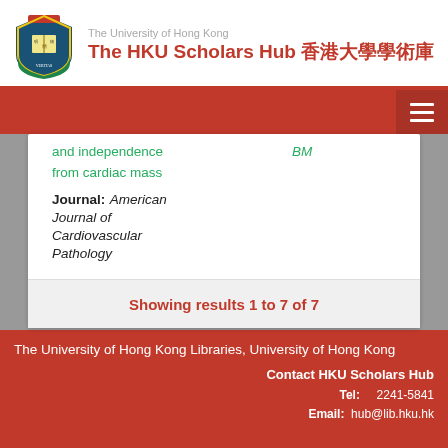The University of Hong Kong — The HKU Scholars Hub 香港大學學術庫
and independence from cardiac mass
BM
Journal: American Journal of Cardiovascular Pathology
Showing results 1 to 7 of 7
The University of Hong Kong Libraries, University of Hong Kong
Contact HKU Scholars Hub
Tel: 2241-5841
Email: hub@lib.hku.hk